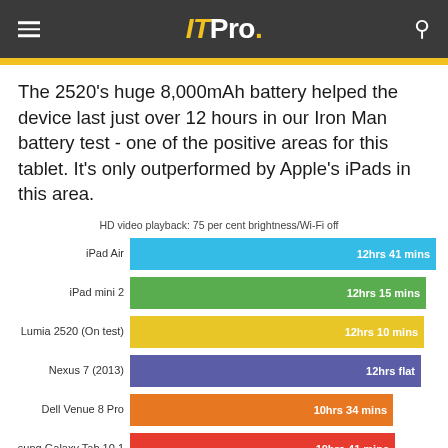IT Pro.
The 2520's huge 8,000mAh battery helped the device last just over 12 hours in our Iron Man battery test - one of the positive areas for this tablet. It's only outperformed by Apple's iPads in this area.
[Figure (bar-chart): HD video playback: 75 per cent brightness/Wi-Fi off]